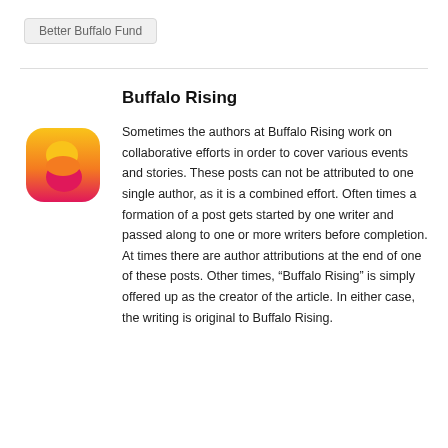Better Buffalo Fund
Buffalo Rising
[Figure (logo): Buffalo Rising logo: a rounded square with a gradient from yellow-orange at the top to pink-red at the bottom, stylized B shape formed by two rounded forms stacked vertically.]
Sometimes the authors at Buffalo Rising work on collaborative efforts in order to cover various events and stories. These posts can not be attributed to one single author, as it is a combined effort. Often times a formation of a post gets started by one writer and passed along to one or more writers before completion. At times there are author attributions at the end of one of these posts. Other times, “Buffalo Rising” is simply offered up as the creator of the article. In either case, the writing is original to Buffalo Rising.